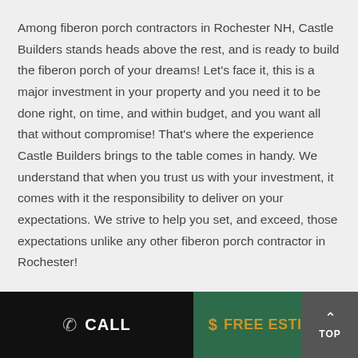Among fiberon porch contractors in Rochester NH, Castle Builders stands heads above the rest, and is ready to build the fiberon porch of your dreams! Let's face it, this is a major investment in your property and you need it to be done right, on time, and within budget, and you want all that without compromise! That's where the experience Castle Builders brings to the table comes in handy. We understand that when you trust us with your investment, it comes with it the responsibility to deliver on your expectations. We strive to help you set, and exceed, those expectations unlike any other fiberon porch contractor in Rochester!
CALL   $  FREE ESTIMATE   TOP